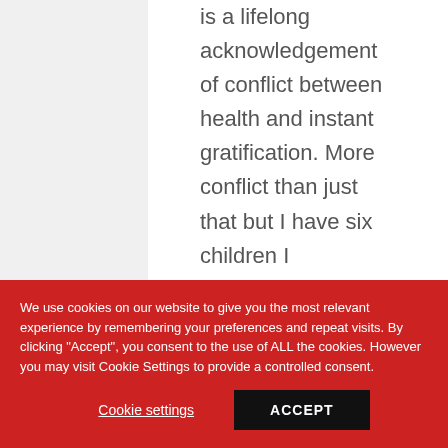is a lifelong acknowledgement of conflict between health and instant gratification. More conflict than just that but I have six children I
We use cookies on our website to give you the most relevant experience by remembering your preferences and repeat visits. By clicking "Accept", you consent to the use of ALL the cookies. However you may visit Cookie Settings to provide a controlled consent.
Cookie settings
ACCEPT